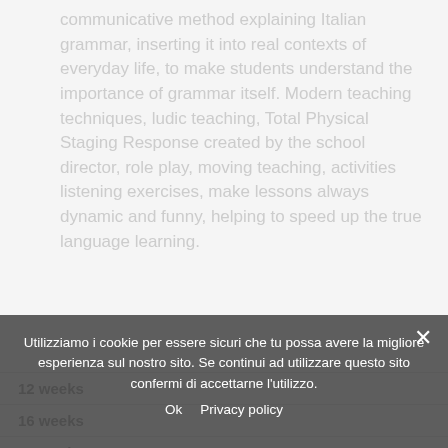communicative method explaining Italian grammar, inserting it into real contexts of everyday life, to make students understand the importance of grammar itself. Modern teaching techniques, ludic teaching, Total Physical Staging Response created by the school director, role play, moving teaching, activities listening exercises, make lessons always dynamic and funny, helping to speed up the true language learning.
Utilizziamo i cookie per essere sicuri che tu possa avere la migliore esperienza sul nostro sito. Se continui ad utilizzare questo sito confermi di accettarne l'utilizzo.
| 12 weeks |
| 16 weeks |
| 24 weeks |